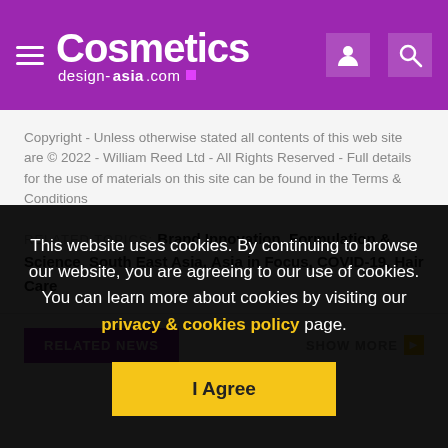Cosmetics design-asia.com
Copyright - Unless otherwise stated all contents of this web site are © 2022 - William Reed Ltd - All Rights Reserved - Full details for the use of materials on this site can be found in the Terms & Conditions
RELATED TOPICS: Brand Innovation, Formulation & Science, South East Asia, Asia in Focus, COVID-19, Hair Care
RELATED NEWS | SHOW MORE
This website uses cookies. By continuing to browse our website, you are agreeing to our use of cookies. You can learn more about cookies by visiting our privacy & cookies policy page.
I Agree